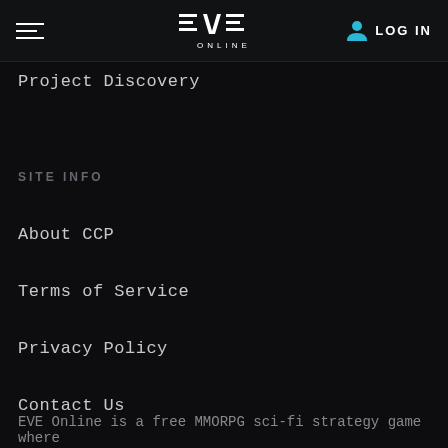EVE Online — header with hamburger menu, logo, and LOG IN button
Project Discovery
SITE INFO
About CCP
Terms of Service
Privacy Policy
Contact Us
RSS Feed
EVE Online is a free MMORPG sci-fi strategy game where